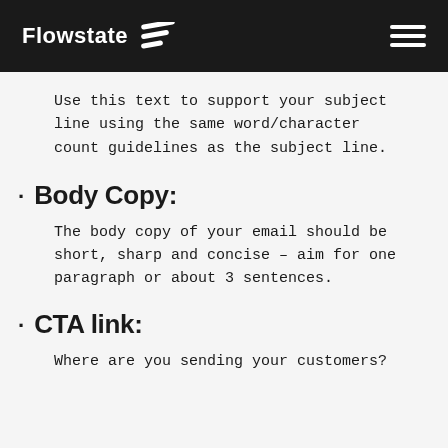Flowstate
Use this text to support your subject line using the same word/character count guidelines as the subject line.
Body Copy: The body copy of your email should be short, sharp and concise – aim for one paragraph or about 3 sentences.
CTA link: Where are you sending your customers?